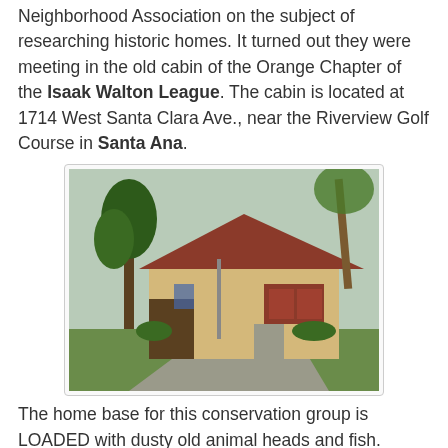Neighborhood Association on the subject of researching historic homes. It turned out they were meeting in the old cabin of the Orange Chapter of the Isaak Walton League. The cabin is located at 1714 West Santa Clara Ave., near the Riverview Golf Course in Santa Ana.
[Figure (photo): Exterior photo of the Isaak Walton League Orange Chapter cabin — a yellow-painted wood siding building with a triangular roof and red trim, surrounded by trees including palms, with green lawn in front.]
The home base for this conservation group is LOADED with dusty old animal heads and fish. Some have clearly seen better days. But it's a fascinating old place. The Orange Chapter got their charter in 1938, although I'd guess the cabin is newer. Probably built just after WWII?
[Figure (photo): Interior photo of the Isaak Walton League cabin showing the ceiling with exposed wooden rafters, fluorescent lights, and a ceiling fan.]